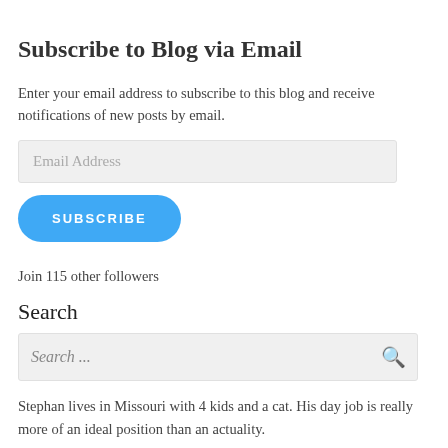Subscribe to Blog via Email
Enter your email address to subscribe to this blog and receive notifications of new posts by email.
Email Address
SUBSCRIBE
Join 115 other followers
Search
Search ...
Stephan lives in Missouri with 4 kids and a cat. His day job is really more of an ideal position than an actuality.